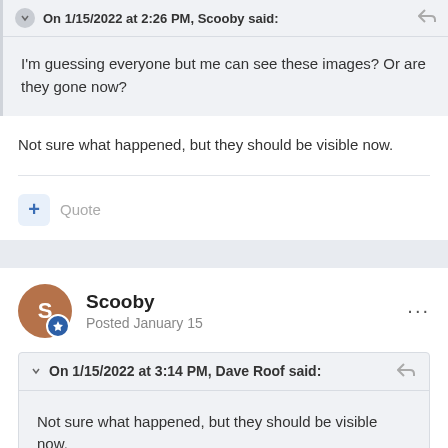On 1/15/2022 at 2:26 PM, Scooby said:
I'm guessing everyone but me can see these images? Or are they gone now?
Not sure what happened, but they should be visible now.
Quote
Scooby
Posted January 15
On 1/15/2022 at 3:14 PM, Dave Roof said:
Not sure what happened, but they should be visible now.